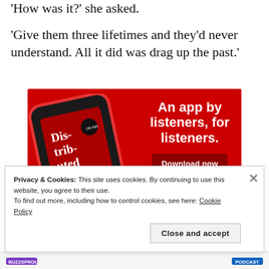'How was it?' she asked.
'Give them three lifetimes and they'd never understand. All it did was drag up the past.'
[Figure (infographic): Red background advertisement for a podcast app showing a smartphone with 'Dis-tri-bu-ted' podcast artwork. Text reads: 'An app by listeners, for listeners.' with a dark red 'Download now' button.]
Privacy & Cookies: This site uses cookies. By continuing to use this website, you agree to their use.
To find out more, including how to control cookies, see here: Cookie Policy
Close and accept